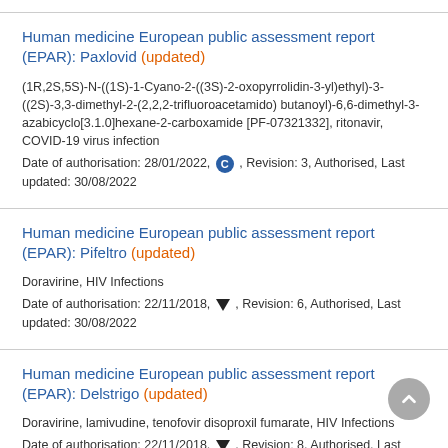Human medicine European public assessment report (EPAR): Paxlovid (updated)
(1R,2S,5S)-N-((1S)-1-Cyano-2-((3S)-2-oxopyrrolidin-3-yl)ethyl)-3-((2S)-3,3-dimethyl-2-(2,2,2-trifluoroacetamido) butanoyl)-6,6-dimethyl-3-azabicyclo[3.1.0]hexane-2-carboxamide [PF-07321332], ritonavir, COVID-19 virus infection
Date of authorisation: 28/01/2022, [C icon], Revision: 3, Authorised, Last updated: 30/08/2022
Human medicine European public assessment report (EPAR): Pifeltro (updated)
Doravirine, HIV Infections
Date of authorisation: 22/11/2018, [triangle icon], Revision: 6, Authorised, Last updated: 30/08/2022
Human medicine European public assessment report (EPAR): Delstrigo (updated)
Doravirine, lamivudine, tenofovir disoproxil fumarate, HIV Infections
Date of authorisation: 22/11/2018, [triangle icon], Revision: 8, Authorised, Last